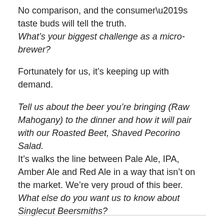No comparison, and the consumer’s taste buds will tell the truth.
What’s your biggest challenge as a micro-brewer?
Fortunately for us, it’s keeping up with demand.
Tell us about the beer you’re bringing (Raw Mahogany) to the dinner and how it will pair with our Roasted Beet, Shaved Pecorino Salad.
It’s walks the line between Pale Ale, IPA, Amber Ale and Red Ale in a way that isn’t on the market. We’re very proud of this beer.
What else do you want us to know about Singlecut Beersmiths?
Rulpsen our spokes-fermenter is still single.